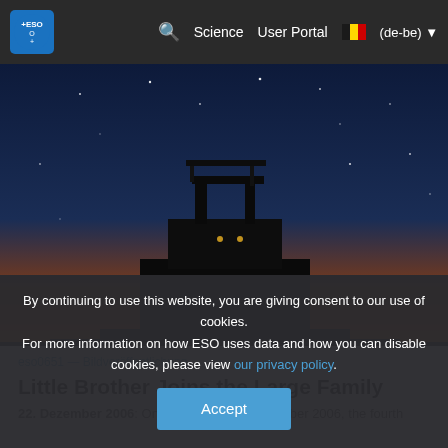ESO — Science | User Portal | (de-be)
[Figure (photo): Silhouette of a large telescope structure against a twilight/night sky with stars visible, orange glow near horizon transitioning to deep blue sky]
eso0651 — Bildveröffentlichung
Little Brother Joins the Large Family
22. Dezember 2006: On the night of 15 December 2006, the fourth
By continuing to use this website, you are giving consent to our use of cookies.
For more information on how ESO uses data and how you can disable cookies, please view our privacy policy.
Accept